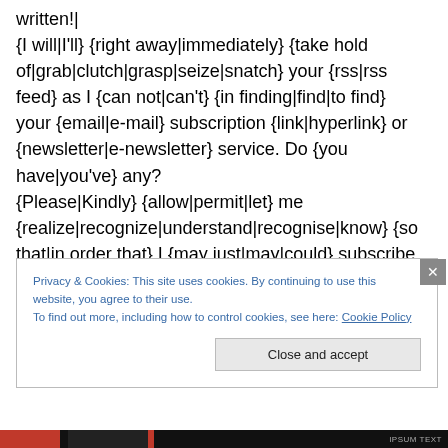written!| {I will|I'll} {right away|immediately} {take hold of|grab|clutch|grasp|seize|snatch} your {rss|rss feed} as I {can not|can't} {in finding|find|to find} your {email|e-mail} subscription {link|hyperlink} or {newsletter|e-newsletter} service. Do {you have|you've} any? {Please|Kindly} {allow|permit|let} me {realize|recognize|understand|recognise|know} {so that|in order that} I {may just|may|could} subscribe.
Privacy & Cookies: This site uses cookies. By continuing to use this website, you agree to their use. To find out more, including how to control cookies, see here: Cookie Policy
Close and accept